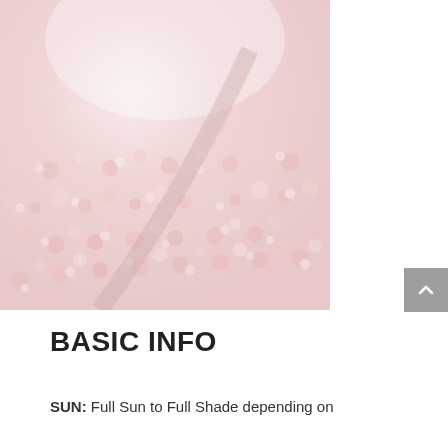[Figure (photo): Close-up photo of pink and white small flowers or blossoms, slightly blurred, filling the left portion of the image area.]
BASIC INFO
SUN: Full Sun to Full Shade depending on variety